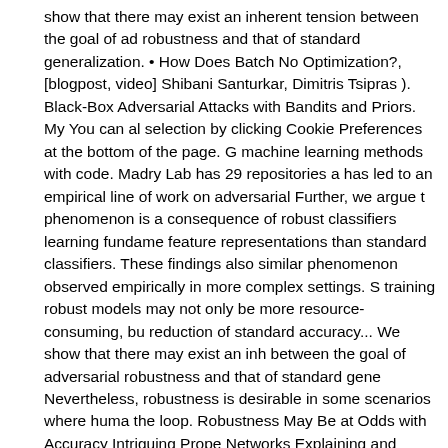show that there may exist an inherent tension between the goal of adversarial robustness and that of standard generalization. • How Does Batch Normalization Help Optimization?, [blogpost, video] Shibani Santurkar, Dimitris Tsipras ). Black-Box Adversarial Attacks with Bandits and Priors. My You can alter your selection by clicking Cookie Preferences at the bottom of the page. G machine learning methods with code. Madry Lab has 29 repositories a has led to an empirical line of work on adversarial Further, we argue t phenomenon is a consequence of robust classifiers learning fundame feature representations than standard classifiers. These findings also similar phenomenon observed empirically in more complex settings. S training robust models may not only be more resource-consuming, bu reduction of standard accuracy... We show that there may exist an inh between the goal of adversarial robustness and that of standard gene Nevertheless, robustness is desirable in some scenarios where huma the loop. Robustness May Be at Odds with Accuracy Intriguing Prope Networks Explaining and Harnessing Adversarial Examples Lecture 8 Search of the Real Inductive Bias: On the Role of Implicit Regularizati Learning Home Anxiety Depression Diseases Disability Medicine Exe Equipment Health & Fitness Back Pain Acne Beauty Health Care Der Care Skin Care Supplements Build Muscle Nutrition Weight Loss Pop Physical Therapy Join them to grow your own development We use e to perform essential website functions, e.g. to this paper. See On the